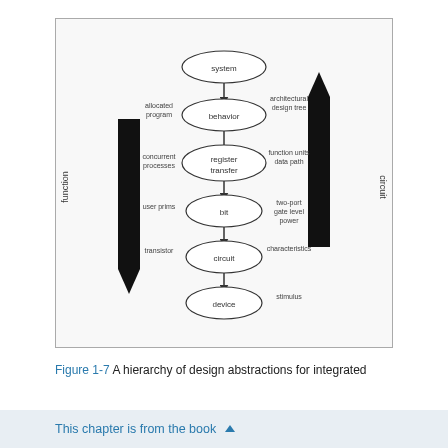[Figure (flowchart): A hierarchy of design abstractions for integrated circuits flowchart. Shows vertical chain of ovals (system, behavior, register, bit, circuit) connected by arrows, with labels on left and right sides indicating abstraction levels. Large downward black arrow on the left and large upward black arrow on the right. Left side labels: allocated program, concurrent processes, user prims, transistor. Right side labels: architectural design tree, function units, two-port, device, characteristics, stimulus. Outer left label: function. Outer right label: circuit.]
Figure 1-7 A hierarchy of design abstractions for integrated
This chapter is from the book